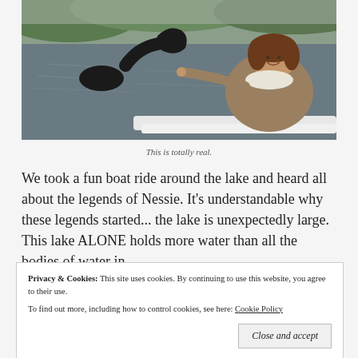[Figure (photo): Photo of a woman on a boat at Loch Ness, pointing excitedly at the water. A Nessie monster silhouette (cartoon) is visible overlaid on the left side of the water. The lake and green hills are in the background.]
This is totally real.
We took a fun boat ride around the lake and heard all about the legends of Nessie. It's understandable why these legends started... the lake is unexpectedly large. This lake ALONE holds more water than all the bodies of water in
Privacy & Cookies: This site uses cookies. By continuing to use this website, you agree to their use.
To find out more, including how to control cookies, see here: Cookie Policy
Close and accept